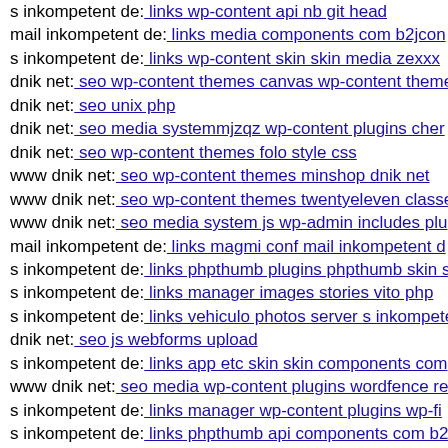s inkompetent de: links wp-content api nb git head
mail inkompetent de: links media components com b2jcon
s inkompetent de: links wp-content skin skin media zexxx
dnik net: seo wp-content themes canvas wp-content theme
dnik net: seo unix php
dnik net: seo media systemmjzqz wp-content plugins cher
dnik net: seo wp-content themes folo style css
www dnik net: seo wp-content themes minshop dnik net
www dnik net: seo wp-content themes twentyeleven classe
www dnik net: seo media system js wp-admin includes plu
mail inkompetent de: links magmi conf mail inkompetent d
s inkompetent de: links phpthumb plugins phpthumb skin s
s inkompetent de: links manager images stories vito php
s inkompetent de: links vehiculo photos server s inkompete
dnik net: seo js webforms upload
s inkompetent de: links app etc skin skin components com
www dnik net: seo media wp-content plugins wordfence re
s inkompetent de: links manager wp-content plugins wp-fi
s inkompetent de: links phpthumb api components com b2
dnik net: seo trackback spicons text gif
www dnik net: seo wp-content themes twentyeleven wp-co